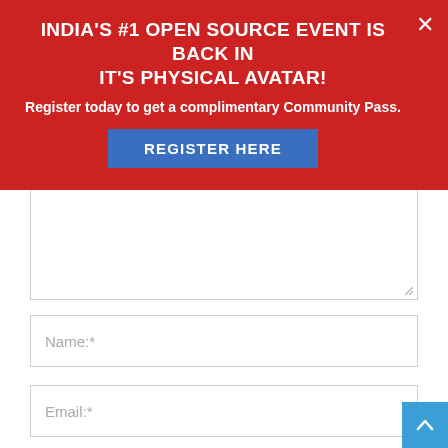INDIA'S #1 OPEN SOURCE EVENT IS BACK IN IT'S PHYSICAL AVATAR!
Register today to get a complimentary Community Pass.
[Figure (other): Blue button labeled REGISTER HERE]
[Figure (other): Text area input box (empty)]
Name:*
Email:*
Website:
Save my name, email, and website in this browser for the next time I comment.